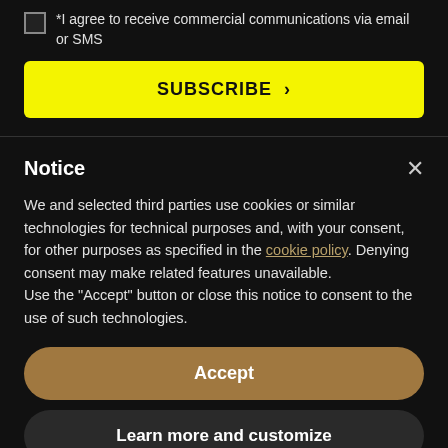*I agree to receive commercial communications via email or SMS
SUBSCRIBE >
Notice
We and selected third parties use cookies or similar technologies for technical purposes and, with your consent, for other purposes as specified in the cookie policy. Denying consent may make related features unavailable.
Use the "Accept" button or close this notice to consent to the use of such technologies.
Accept
Learn more and customize